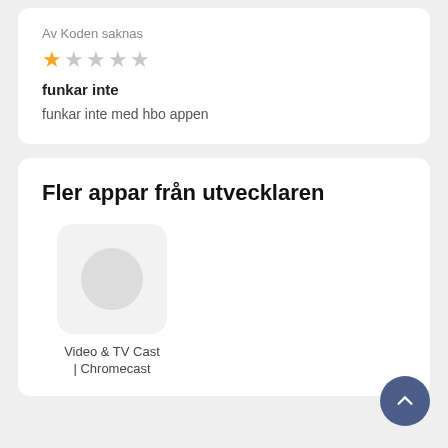Av Koden saknas
[Figure (other): 1 filled star and 4 empty stars rating]
funkar inte
funkar inte med hbo appen
Fler appar från utvecklaren
[Figure (illustration): App icon placeholder with rounded rectangle and circle inside, labeled Video & TV Cast | Chromecast]